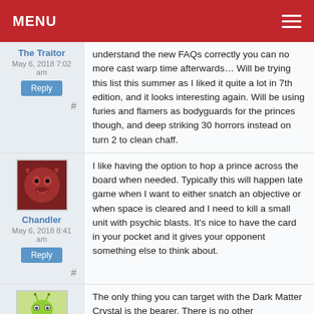MENU
The Traitor
May 6, 2018 7:02 am
understand the new FAQs correctly you can no more cast warp time afterwards… Will be trying this list this summer as I liked it quite a lot in 7th edition, and it looks interesting again. Will be using furies and flamers as bodyguards for the princes though, and deep striking 30 horrors instead on turn 2 to clean chaff.
Chandler
May 6, 2018 8:41 am
I like having the option to hop a prince across the board when needed. Typically this will happen late game when I want to either snatch an objective or when space is cleared and I need to kill a small unit with psychic blasts. It's nice to have the card in your pocket and it gives your opponent something else to think about.
Raven1
May 6, 2018 9:32 am
The only thing you can target with the Dark Matter Crystal is the bearer. There is no other THOUSAND SONS INFANTRY in the list. I dont see much use for it as a demon prince is halfway up the board by hindering